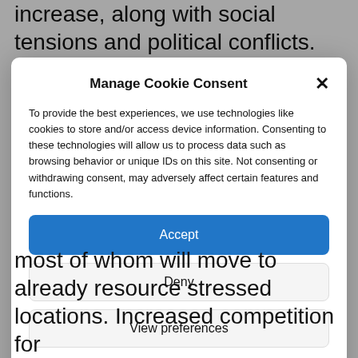increase, along with social tensions and political conflicts. This poses yet another hurdle to
Manage Cookie Consent
To provide the best experiences, we use technologies like cookies to store and/or access device information. Consenting to these technologies will allow us to process data such as browsing behavior or unique IDs on this site. Not consenting or withdrawing consent, may adversely affect certain features and functions.
Accept
Deny
View preferences
Cookie Policy   Privacy policy
most of whom will move to already resource stressed locations. Increased competition for